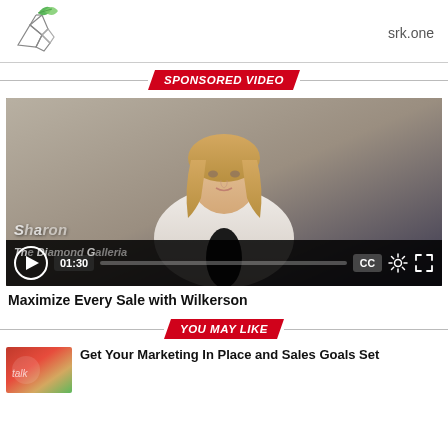[Figure (logo): Logo with geometric wireframe animal shape and green leaf/plant element]
srk.one
SPONSORED VIDEO
[Figure (screenshot): Video player showing a blonde woman seated, with video controls showing time 01:30, play button, CC, gear and fullscreen icons, and watermark text 'Sharon The Diamond Galleria']
Maximize Every Sale with Wilkerson
YOU MAY LIKE
[Figure (photo): Small thumbnail image for recommended article]
Get Your Marketing In Place and Sales Goals Set